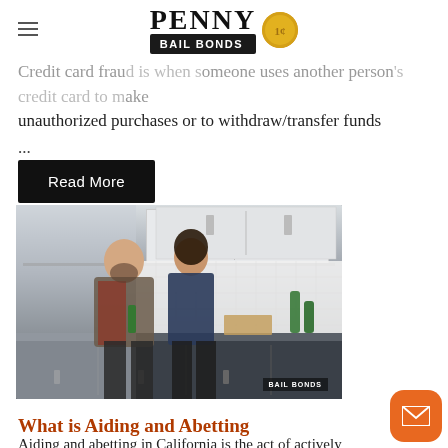PENNY BAIL BONDS
Credit card fraud is when someone uses another person's credit card to make unauthorized purchases or to withdraw/transfer funds ...
Read More
[Figure (photo): A man and woman standing in a kitchen with green bottles, dark cabinetry and white tile backsplash, with a Penny Bail Bonds watermark]
What is Aiding and Abetting
Aiding and abetting in California is the act of actively